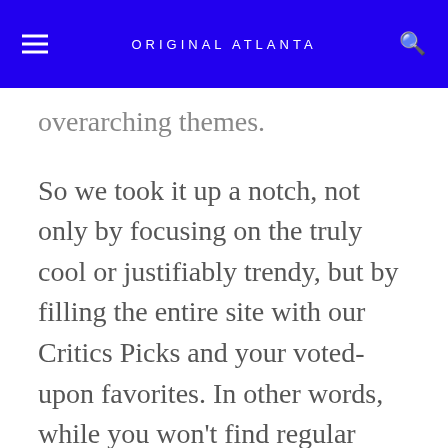ORIGINAL ATLANTA
overarching themes.
So we took it up a notch, not only by focusing on the truly cool or justifiably trendy, but by filling the entire site with our Critics Picks and your voted-upon favorites. In other words, while you won't find regular features such as the Blotter or our editorial page, you get an issue packed with award-winners worth your attention.